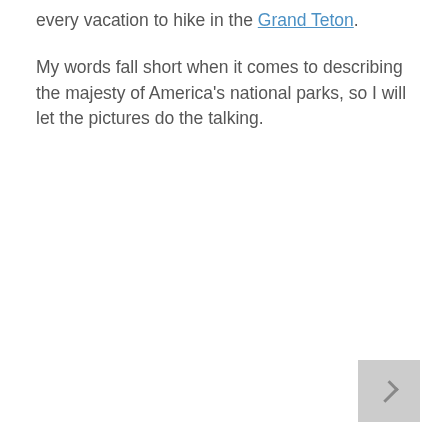every vacation to hike in the Grand Teton. My words fall short when it comes to describing the majesty of America's national parks, so I will let the pictures do the talking.